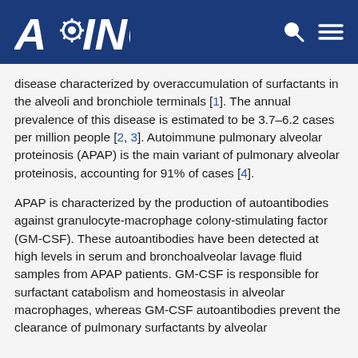AGING
disease characterized by overaccumulation of surfactants in the alveoli and bronchiole terminals [1]. The annual prevalence of this disease is estimated to be 3.7–6.2 cases per million people [2, 3]. Autoimmune pulmonary alveolar proteinosis (APAP) is the main variant of pulmonary alveolar proteinosis, accounting for 91% of cases [4].
APAP is characterized by the production of autoantibodies against granulocyte-macrophage colony-stimulating factor (GM-CSF). These autoantibodies have been detected at high levels in serum and bronchoalveolar lavage fluid samples from APAP patients. GM-CSF is responsible for surfactant catabolism and homeostasis in alveolar macrophages, whereas GM-CSF autoantibodies prevent the clearance of pulmonary surfactants by alveolar